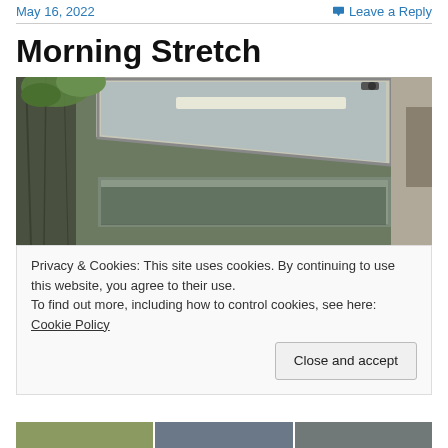May 16, 2022   Leave a Reply
Morning Stretch
[Figure (photo): Photograph of a building exterior with a large tilted window or skylight open outward, a tree trunk with green leaves visible on the left side, and the interior ceiling with fluorescent lighting visible through the glass panel. The image shows a modernist architectural detail.]
Privacy & Cookies: This site uses cookies. By continuing to use this website, you agree to their use.
To find out more, including how to control cookies, see here: Cookie Policy
Close and accept
[Figure (photo): A strip of thumbnail photos at the bottom of the page showing outdoor and architectural scenes.]